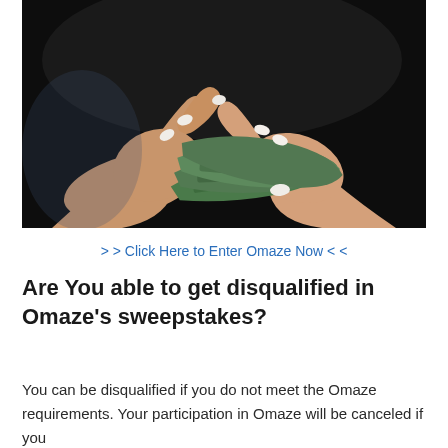[Figure (photo): Close-up photo of a person's hands counting/holding a fan of US dollar bills against a dark background]
> > Click Here to Enter Omaze Now < <
Are You able to get disqualified in Omaze's sweepstakes?
You can be disqualified if you do not meet the Omaze requirements. Your participation in Omaze will be canceled if you